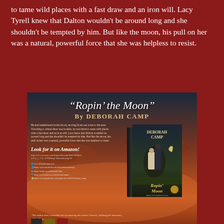to tame wild places with a fast draw and an iron will. Lacy Tyrell knew that Dalton wouldn't be around long and she shouldn't be tempted by him. But like the moon, his pull on her was a natural, powerful force that she was helpless to resist.
[Figure (illustration): Book advertisement for 'Ropin' the Moon' by Deborah Camp. Dark reddish-orange sunset sky background. Title in italic white script at top, author name in gold caps beneath. Left side has blurb text, Amazon call-to-action, and social media links. Right side shows a 3D book cover featuring a couple embracing under a crescent moon, with 'DEBORAH CAMP' and 'Ropin the Moon' on the cover. Bottom shows three smaller book covers and a review quote.]